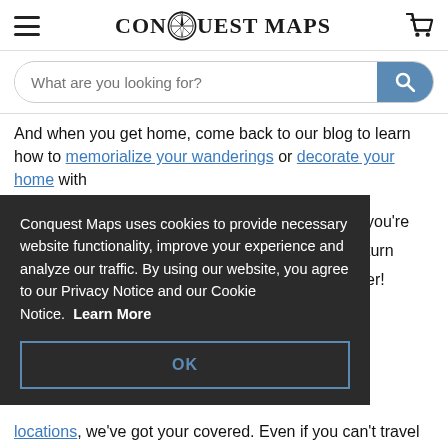[Figure (logo): Conquest Maps logo with compass rose and stylized text]
[Figure (screenshot): Search bar with placeholder 'What are you looking for?' and blue search button]
And when you get home, come back to our blog to learn how to memorialize your wanderings or decorate your home with [text partially obscured] you're [turn] [er!]
[Figure (screenshot): Cookie consent overlay: 'Conquest Maps uses cookies to provide necessary website functionality, improve your experience and analyze our traffic. By using our website, you agree to our Privacy Notice and our Cookie Notice. Learn More' with OK button]
locations, we've got your covered. Even if you can't travel